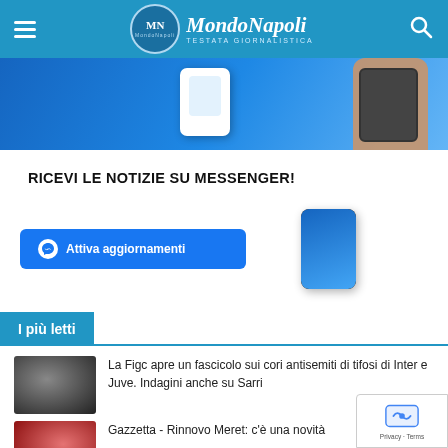MondoNapoli - Testata Giornalistica
[Figure (photo): Banner with smartphone and hand holding phone on blue background]
RICEVI LE NOTIZIE SU MESSENGER!
[Figure (screenshot): Messenger activation button and phone image]
I più letti
[Figure (photo): Thumbnail image for first news article]
La Figc apre un fascicolo sui cori antisemiti di tifosi di Inter e Juve. Indagini anche su Sarri
[Figure (photo): Thumbnail image for second news article]
Gazzetta - Rinnovo Meret: c'è una novità